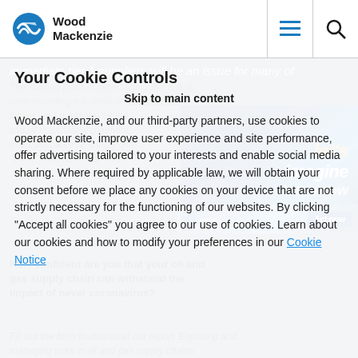Wood Mackenzie
immediate tier 1 suppliers will be an issue for many of
Your Cookie Controls
Skip to main content
Wood Mackenzie, and our third-party partners, use cookies to operate our site, improve user experience and site performance, offer advertising tailored to your interests and enable social media sharing. Where required by applicable law, we will obtain your consent before we place any cookies on your device that are not strictly necessary for the functioning of our websites. By clicking "Accept all cookies" you agree to our use of cookies. Learn about our cookies and how to modify your preferences in our Cookie Notice
The starting point in ascertaining this risk is understanding the detail of who supplies whom, and mapping out the critical materials, equipment, that transparency, supply chain "blind" now more than ever.
How confident are you that your oil and gas supply chain can withstand the impact of never coronavirus?
Fill out the form to download our report 'Exposing and managing risks in oil and gas supply chains'